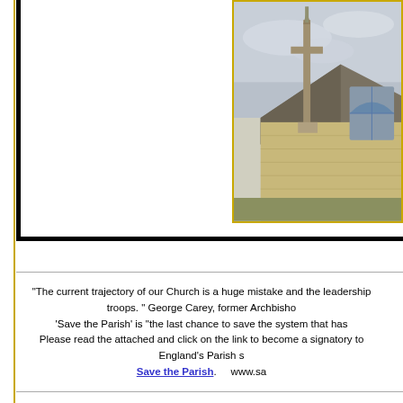[Figure (photo): Photograph of a church building with a stone cross monument/war memorial in the foreground and Gothic-style church architecture with pointed windows in the background, against an overcast sky.]
“The current trajectory of our Church is a huge mistake and the leadership is out of touch with the troops.” George Carey, former Archbishop of Canterbury. ‘Save the Parish’ is “the last chance to save the system that has served England so well”. Please read the attached and click on the link to become a signatory to the campaign to save England’s Parish system.
Save the Parish.    www.savetheparish.com